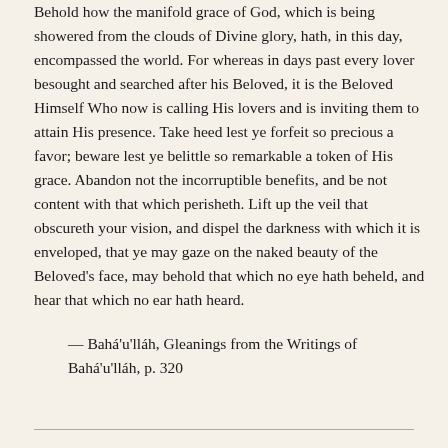Behold how the manifold grace of God, which is being showered from the clouds of Divine glory, hath, in this day, encompassed the world. For whereas in days past every lover besought and searched after his Beloved, it is the Beloved Himself Who now is calling His lovers and is inviting them to attain His presence. Take heed lest ye forfeit so precious a favor; beware lest ye belittle so remarkable a token of His grace. Abandon not the incorruptible benefits, and be not content with that which perisheth. Lift up the veil that obscureth your vision, and dispel the darkness with which it is enveloped, that ye may gaze on the naked beauty of the Beloved's face, may behold that which no eye hath beheld, and hear that which no ear hath heard.
— Bahá'u'lláh, Gleanings from the Writings of Bahá'u'lláh, p. 320